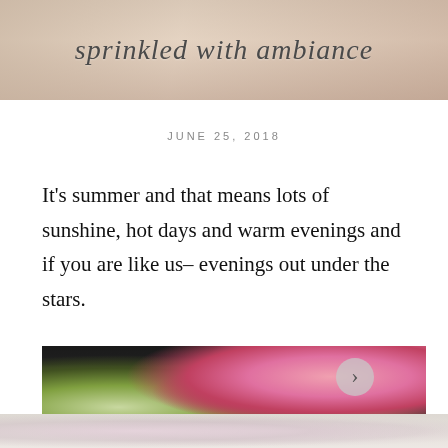sprinkled with ambiance
JUNE 25, 2018
It's summer and that means lots of sunshine, hot days and warm evenings and if you are like us- evenings out under the stars.
[Figure (photo): Close-up photograph of pink peonies and white flowers with green foliage against a dark background, with a faded floral reflection below.]